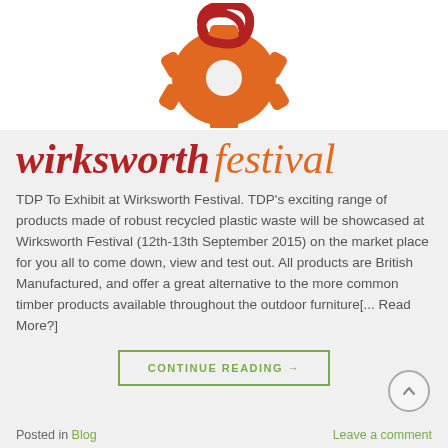[Figure (logo): Wirksworth Festival logo: orange gear/cog shape with red swirl on top, on white background]
wirksworth festival
TDP To Exhibit at Wirksworth Festival. TDP’s exciting range of products made of robust recycled plastic waste will be showcased at Wirksworth Festival (12th-13th September 2015) on the market place for you all to come down, view and test out. All products are British Manufactured, and offer a great alternative to the more common timber products available throughout the outdoor furniture[... Read More?]
CONTINUE READING →
Posted in Blog   Leave a comment